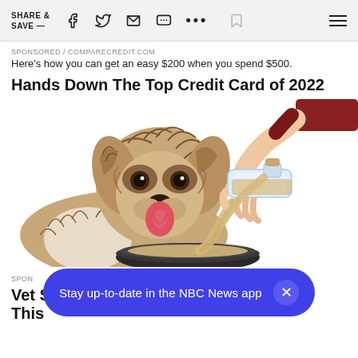SHARE & SAVE —
SPONSORED / COMPARECREDIT.COM
Here's how you can get an easy $200 when you spend $500.
Hands Down The Top Credit Card of 2022
[Figure (illustration): Illustrated image of a fluffy brown and white dog (doodle breed) lying down with tongue out, watching a human hand pouring liquid from a glass bottle into a metal dog food bowl.]
SPON
Vet Says: if Your Dog Eats Dry Food, Do This
Stay up-to-date in the NBC News app